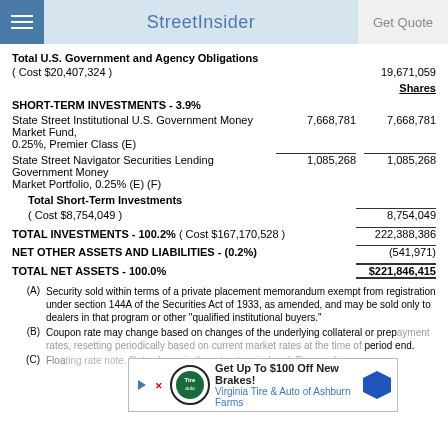StreetInsider | Get Quote
Total U.S. Government and Agency Obligations
( Cost $20,407,324 )   19,671,059
Shares
SHORT-TERM INVESTMENTS - 3.9%
State Street Institutional U.S. Government Money Market Fund, 0.25%, Premier Class (E)   7,668,781   7,668,781
State Street Navigator Securities Lending Government Money Market Portfolio, 0.25% (E) (F)   1,085,268   1,085,268
Total Short-Term Investments
( Cost $8,754,049 )   8,754,049
TOTAL INVESTMENTS - 100.2% ( Cost $167,170,528 )   222,388,386
NET OTHER ASSETS AND LIABILITIES - (0.2%)   (541,971)
TOTAL NET ASSETS - 100.0%   $221,846,415
(A) Security sold within terms of a private placement memorandum exempt from registration under section 144A of the Securities Act of 1933, as amended, and may be sold only to dealers in that program or other "qualified institutional buyers."
(B) Coupon rate may change based on changes of the underlying collateral or prep...period end.
(C) Floa...